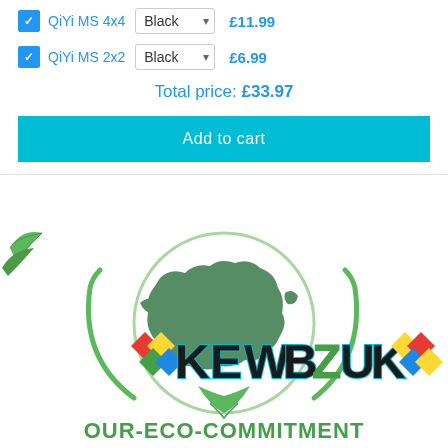QiYi MS 4x4  Black  £11.99
QiYi MS 2x2  Black  £6.99
Total price: £33.97
Add to cart
[Figure (logo): KewbzUK Our-Eco-Commitment logo with globe, rubik's cube pattern and green leaves]